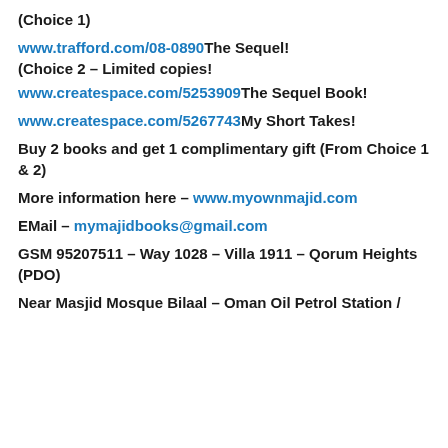(Choice 1)
www.trafford.com/08-0890     The Sequel!
(Choice 2 – Limited copies!
www.createspace.com/5253909     The Sequel Book!
www.createspace.com/5267743     My Short Takes!
Buy 2 books and get 1 complimentary gift (From Choice 1 & 2)
More information here – www.myownmajid.com
EMail – mymajidbooks@gmail.com
GSM 95207511 – Way 1028 – Villa 1911 – Qorum Heights (PDO)
Near Masjid Mosque Bilaal – Oman Oil Petrol Station /